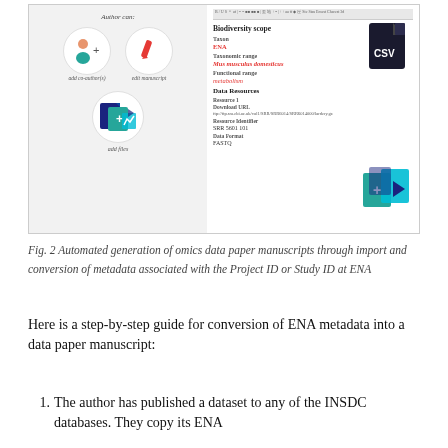[Figure (screenshot): Screenshot of a manuscript editor interface showing two panels: left panel with circles for 'add co-author(s)', 'edit manuscript', and 'add files' actions; right panel showing a form with 'Biodiversity scope', 'Taxon' (ENA), 'Taxonomic range' (Mus musculus domesticus), 'Functional range' (metabolism), and 'Data Resources' (Resource 1) fields, plus a CSV file icon and a data files icon.]
Fig. 2 Automated generation of omics data paper manuscripts through import and conversion of metadata associated with the Project ID or Study ID at ENA
Here is a step-by-step guide for conversion of ENA metadata into a data paper manuscript:
1. The author has published a dataset to any of the INSDC databases. They copy its ENA